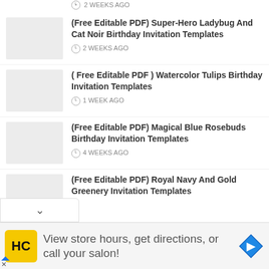2 WEEKS AGO
(Free Editable PDF) Super-Hero Ladybug And Cat Noir Birthday Invitation Templates
2 WEEKS AGO
( Free Editable PDF ) Watercolor Tulips Birthday Invitation Templates
1 WEEK AGO
(Free Editable PDF) Magical Blue Rosebuds Birthday Invitation Templates
4 WEEKS AGO
(Free Editable PDF) Royal Navy And Gold Greenery Invitation Templates
[Figure (infographic): Advertisement banner: HC logo (yellow background with HC text), text 'View store hours, get directions, or call your salon!', blue diamond navigation arrow icon]